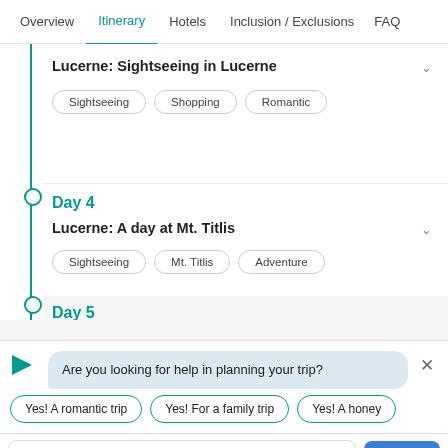Overview | Itinerary | Hotels | Inclusion / Exclusions | FAQ
Lucerne: Sightseeing in Lucerne
Sightseeing
Shopping
Romantic
Day 4
Lucerne: A day at Mt. Titlis
Sightseeing
Mt. Titlis
Adventure
Day 5
Are you looking for help in planning your trip?
Yes! A romantic trip
Yes! For a family trip
Yes! A honey
Type or select from above...
SEND